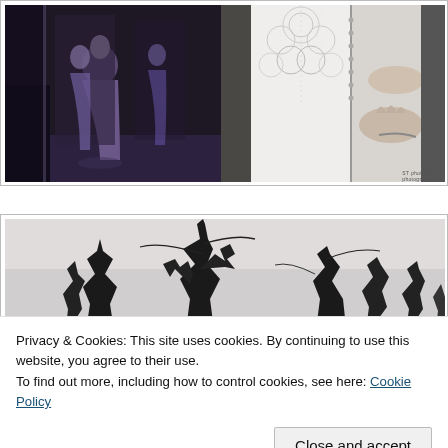[Figure (photo): Two side-by-side black and white photos: left shows a woman in a long dress standing in a room with mirror reflections; right shows a close-up of hands fastening the back of a lace wedding dress.]
[Figure (photo): Partial black and white landscape photo showing tree branches against a light sky, partially obscured by a cookie consent banner.]
Privacy & Cookies: This site uses cookies. By continuing to use this website, you agree to their use.
To find out more, including how to control cookies, see here: Cookie Policy
Close and accept